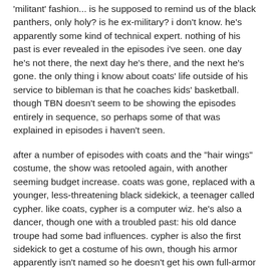'militant' fashion... is he supposed to remind us of the black panthers, only holy? is he ex-military? i don't know. he's apparently some kind of technical expert. nothing of his past is ever revealed in the episodes i've seen. one day he's not there, the next day he's there, and the next he's gone. the only thing i know about coats' life outside of his service to bibleman is that he coaches kids' basketball. though TBN doesn't seem to be showing the episodes entirely in sequence, so perhaps some of that was explained in episodes i haven't seen.
after a number of episodes with coats and the "hair wings" costume, the show was retooled again, with another seeming budget increase. coats was gone, replaced with a younger, less-threatening black sidekick, a teenager called cypher. like coats, cypher is a computer wiz. he's also a dancer, though one with a troubled past: his old dance troupe had some bad influences. cypher is also the first sidekick to get a costume of his own, though his armor apparently isn't named so he doesn't get his own full-armor sequence. cypher's a bit cocky and headstrong, but hey, he's a good kid.